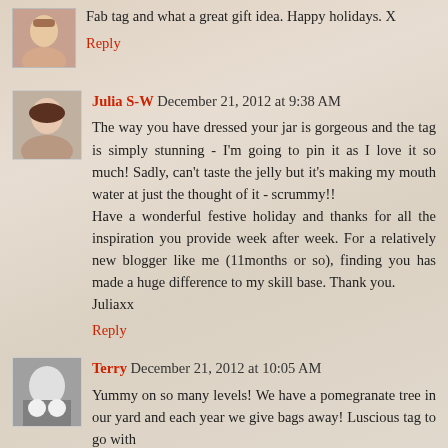Fab tag and what a great gift idea. Happy holidays. X
Reply
Julia S-W  December 21, 2012 at 9:38 AM
The way you have dressed your jar is gorgeous and the tag is simply stunning - I'm going to pin it as I love it so much! Sadly, can't taste the jelly but it's making my mouth water at just the thought of it - scrummy!!
Have a wonderful festive holiday and thanks for all the inspiration you provide week after week. For a relatively new blogger like me (11months or so), finding you has made a huge difference to my skill base. Thank you.
Juliaxx
Reply
Terry  December 21, 2012 at 10:05 AM
Yummy on so many levels! We have a pomegranate tree in our yard and each year we give bags away! Luscious tag to go with